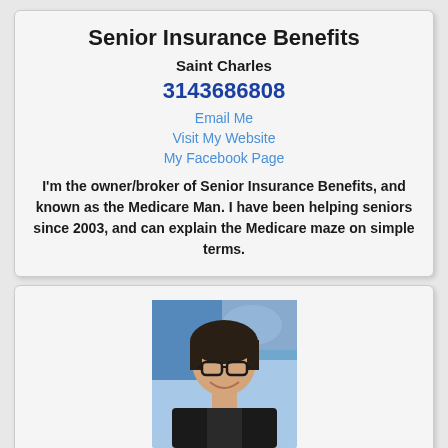Senior Insurance Benefits
Saint Charles
3143686808
Email Me
Visit My Website
My Facebook Page
I'm the owner/broker of Senior Insurance Benefits, and known as the Medicare Man. I have been helping seniors since 2003, and can explain the Medicare maze on simple terms.
[Figure (photo): Headshot of William Clark, a middle-aged man with glasses and dark hair, wearing a dark jacket, smiling, with a colorful background.]
17.28 mi
WILLIAM CLARK
Seniors Choice